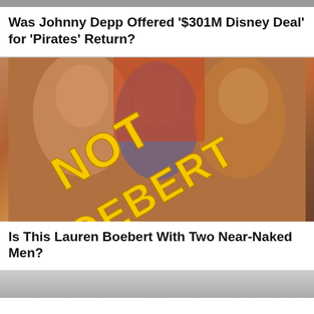[Figure (photo): Partial top image, cropped at top of page]
Was Johnny Depp Offered '$301M Disney Deal' for 'Pirates' Return?
[Figure (photo): Photo of three people, a woman flanked by two shirtless men, with yellow text overlay reading 'NOT BOEBERT']
Is This Lauren Boebert With Two Near-Naked Men?
[Figure (photo): Partial bottom image, cropped at bottom of page]